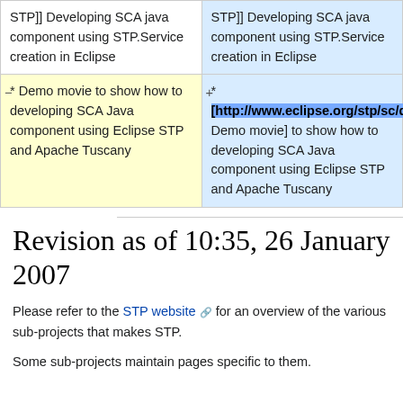| (deleted content) | (added content) |
| --- | --- |
| STP]] Developing SCA java component using STP.Service creation in Eclipse | STP]] Developing SCA java component using STP.Service creation in Eclipse |
| * Demo movie to show how to developing SCA Java component using Eclipse STP and Apache Tuscany | * [http://www.eclipse.org/stp/sc/demos/sca_rmi_movie.htm Demo movie] to show how to developing SCA Java component using Eclipse STP and Apache Tuscany |
Revision as of 10:35, 26 January 2007
Please refer to the STP website for an overview of the various sub-projects that makes STP.
Some sub-projects maintain pages specific to them.